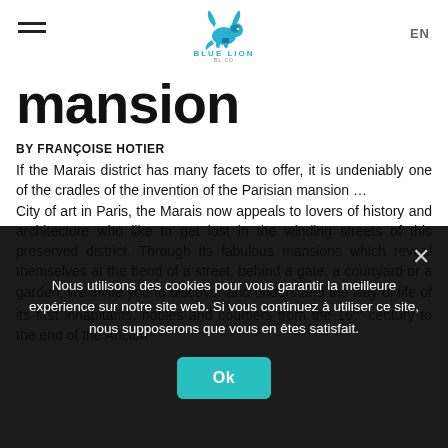[Figure (logo): Blue Lion logo with winged lion and text BLUE LION]
mansion
BY FRANÇOISE HOTIER
If the Marais district has many facets to offer, it is undeniably one of the cradles of the invention of the Parisian mansion …
City of art in Paris, the Marais now appeals to lovers of history and architecture who like to get lost in the winding streets of this preserved district. Through its fabulous mansions which reveal themselves at the bend of a street, behind a gate, a courtyard or a garden, we invite you to discover and understand the way of life of its first inhabitants, nobles and courtiers from the 16th century to the end of the Ancien
Nous utilisons des cookies pour vous garantir la meilleure expérience sur notre site web. Si vous continuez à utiliser ce site, nous supposerons que vous en êtes satisfait. Ok